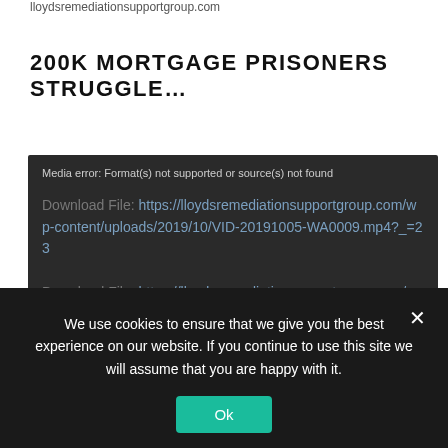lloydsremediationsupportgroup.com
200K MORTGAGE PRISONERS STRUGGLE…
[Figure (screenshot): Video player showing a media error message. The dark background player displays: 'Media error: Format(s) not supported or source(s) not found'. Below are two download file links: 'Download File: https://lloydsremediationsupportgroup.com/wp-content/uploads/2019/10/VID-20191005-WA0009.mp4?_=23' repeated twice.]
We use cookies to ensure that we give you the best experience on our website. If you continue to use this site we will assume that you are happy with it.